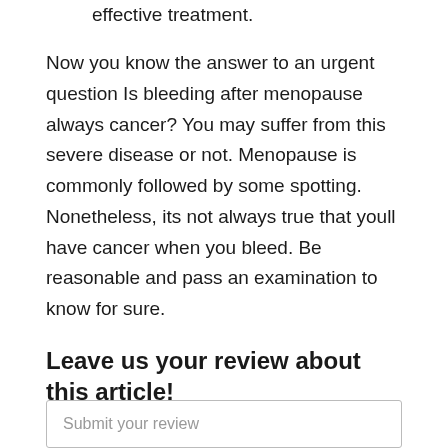effective treatment.
Now you know the answer to an urgent question Is bleeding after menopause always cancer? You may suffer from this severe disease or not. Menopause is commonly followed by some spotting. Nonetheless, its not always true that youll have cancer when you bleed. Be reasonable and pass an examination to know for sure.
Leave us your review about this article!
Submit your review
Prolonged And Heavy Bleeding During Menopause Is Common
[Figure (other): Green colored rectangular image block at the bottom of the page]